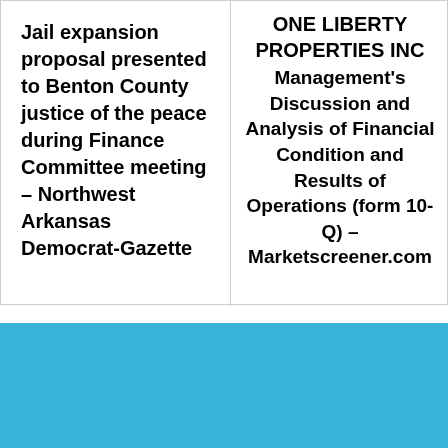Jail expansion proposal presented to Benton County justice of the peace during Finance Committee meeting – Northwest Arkansas Democrat-Gazette
ONE LIBERTY PROPERTIES INC Management's Discussion and Analysis of Financial Condition and Results of Operations (form 10-Q) – Marketscreener.com
[Figure (other): Solid blue/teal decorative rectangle filling the bottom section of the page]